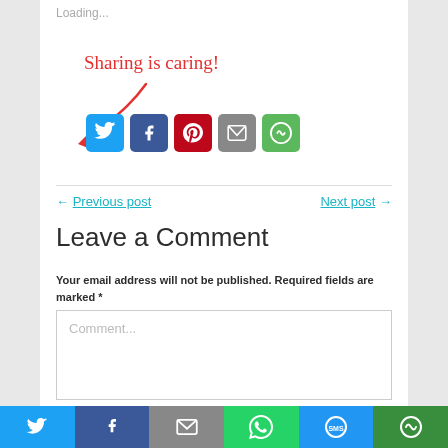Loading...
[Figure (infographic): Sharing is caring! text with arrow and social share icons: Twitter, Facebook, Pinterest, Email, More]
← Previous post
Next post →
Leave a Comment
Your email address will not be published. Required fields are marked *
Comment...
[Figure (infographic): Bottom share bar with Twitter, Facebook, Email, WhatsApp, SMS, More icons]